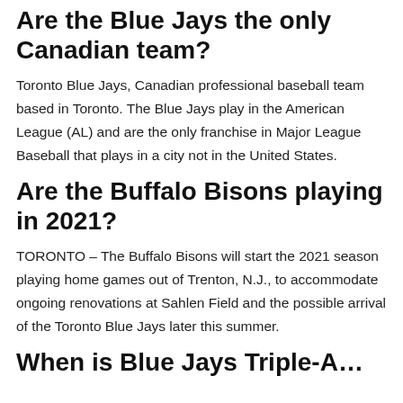Are the Blue Jays the only Canadian team?
Toronto Blue Jays, Canadian professional baseball team based in Toronto. The Blue Jays play in the American League (AL) and are the only franchise in Major League Baseball that plays in a city not in the United States.
Are the Buffalo Bisons playing in 2021?
TORONTO – The Buffalo Bisons will start the 2021 season playing home games out of Trenton, N.J., to accommodate ongoing renovations at Sahlen Field and the possible arrival of the Toronto Blue Jays later this summer.
When is Blue Jays Triple-A…